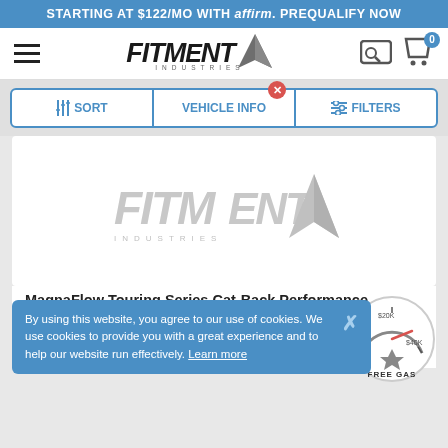STARTING AT $122/MO WITH affirm. PREQUALIFY NOW
[Figure (logo): Fitment Industries logo with hamburger menu, cart icon with 0 badge]
[Figure (other): Sort, Vehicle Info (with X badge), and Filters buttons]
[Figure (logo): Fitment Industries watermark logo on product image white background]
By using this website, you agree to our use of cookies. We use cookies to provide you with a great experience and to help our website run effectively. Learn more
[Figure (infographic): Circular gauge badge showing $20K and $40K labels with needle pointing to $40K area, labeled FREE GAS]
MagnaFlow Touring Series Cat-Back Performance Exhaust System (14-21 Mini Cooper)|2.0L
FREE SHIPPING TO THE LOWER 48